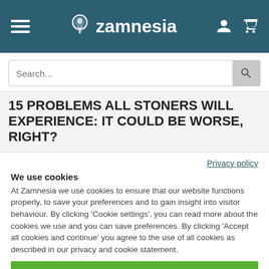Zamnesia
Search...
15 PROBLEMS ALL STONERS WILL EXPERIENCE: IT COULD BE WORSE, RIGHT?
Privacy policy
We use cookies
At Zamnesia we use cookies to ensure that our website functions properly, to save your preferences and to gain insight into visitor behaviour. By clicking ‘Cookie settings’, you can read more about the cookies we use and you can save preferences. By clicking ‘Accept all cookies and continue’ you agree to the use of all cookies as described in our privacy and cookie statement.
Accept all cookies and continue
Cookie settings